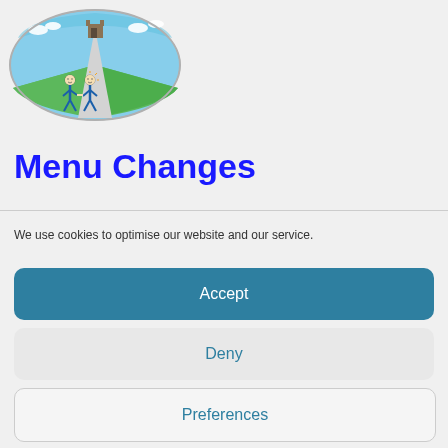[Figure (illustration): Oval logo with blue sky, green fields, a path leading to a castle/building in the background, and two stick figure children holding hands walking on the path]
Menu Changes
We use cookies to optimise our website and our service.
Accept
Deny
Preferences